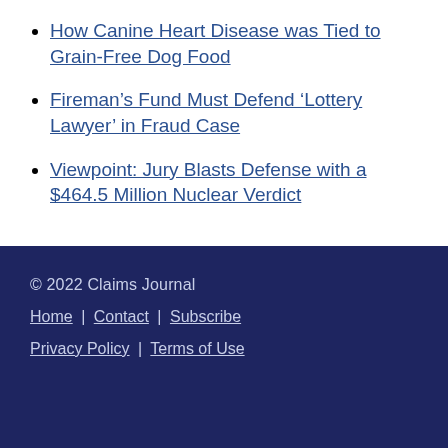How Canine Heart Disease was Tied to Grain-Free Dog Food
Fireman's Fund Must Defend ‘Lottery Lawyer’ in Fraud Case
Viewpoint: Jury Blasts Defense with a $464.5 Million Nuclear Verdict
© 2022 Claims Journal
Home | Contact | Subscribe
Privacy Policy | Terms of Use